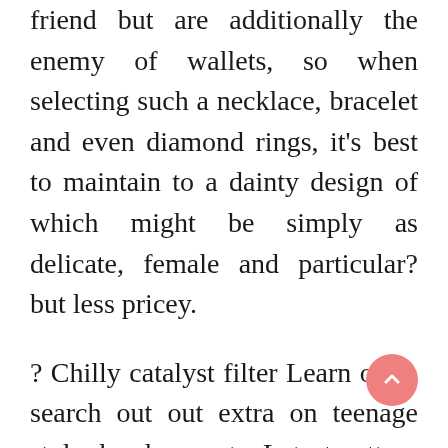friend but are additionally the enemy of wallets, so when selecting such a necklace, bracelet and even diamond rings, it's best to maintain to a dainty design of which might be simply as delicate, female and particular? but less pricey.
? Chilly catalyst filter Learn on to search out out extra on teenage style developments. Latest pattern of Gothic shirts and different dresses changes with the passage of time. Conclusively, there are numerous fancy and technological garments available on the market, however when it comes all the way down to it among the easiest of items create